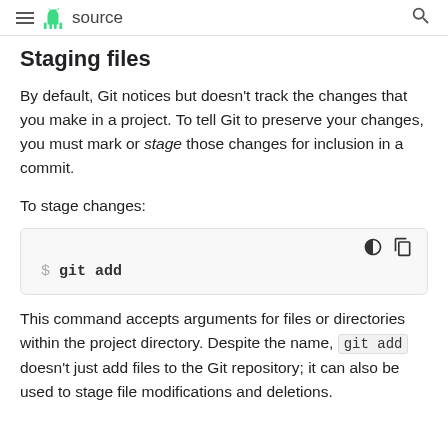≡ 🤖 source 🔍
Staging files
By default, Git notices but doesn't track the changes that you make in a project. To tell Git to preserve your changes, you must mark or stage those changes for inclusion in a commit.
To stage changes:
This command accepts arguments for files or directories within the project directory. Despite the name, git add doesn't just add files to the Git repository; it can also be used to stage file modifications and deletions.